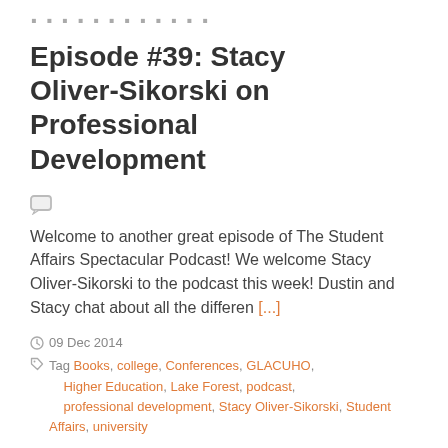Episode #39: Stacy Oliver-Sikorski on Professional Development
Welcome to another great episode of The Student Affairs Spectacular Podcast! We welcome Stacy Oliver-Sikorski to the podcast this week! Dustin and Stacy chat about all the differen [...]
09 Dec 2014
Tag Books, college, Conferences, GLACUHO, Higher Education, Lake Forest, podcast, professional development, Stacy Oliver-Sikorski, Student Affairs, university